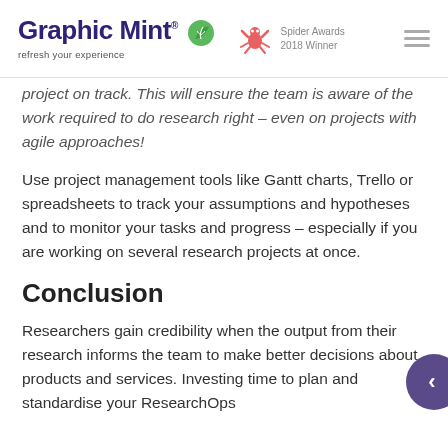Graphic Mint® refresh your experience | Spider Awards 2018 Winner
project on track. This will ensure the team is aware of the work required to do research right – even on projects with agile approaches!
Use project management tools like Gantt charts, Trello or spreadsheets to track your assumptions and hypotheses and to monitor your tasks and progress – especially if you are working on several research projects at once.
Conclusion
Researchers gain credibility when the output from their research informs the team to make better decisions about products and services. Investing time to plan and standardise your ResearchOps...